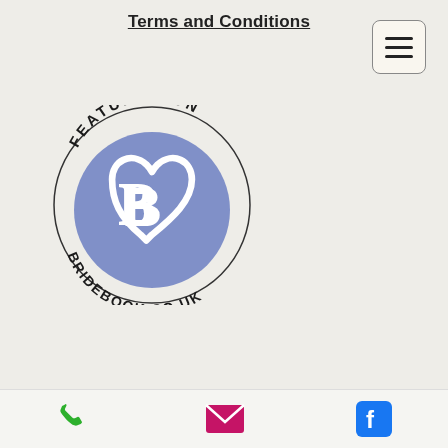Terms and Conditions
[Figure (logo): Featured on Bridebook.co.uk badge — circular badge with 'FEATURED ON' text arched at top, 'BRIDEBOOK.CO.UK' text arched at bottom, blue circle with white heart/B logo in center]
[Figure (infographic): Footer bar with three icons: green phone icon, pink/magenta envelope icon, blue Facebook icon]